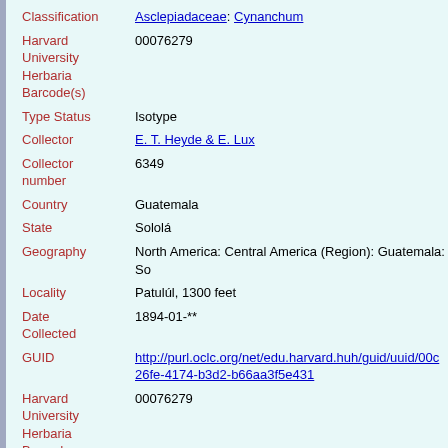| Field | Value |
| --- | --- |
| Classification | Asclepiadaceae: Cynanchum |
| Harvard University Herbaria Barcode(s) | 00076279 |
| Type Status | Isotype |
| Collector | E. T. Heyde & E. Lux |
| Collector number | 6349 |
| Country | Guatemala |
| State | Sololá |
| Geography | North America: Central America (Region): Guatemala: So |
| Locality | Patulúl, 1300 feet |
| Date Collected | 1894-01-** |
| GUID | http://purl.oclc.org/net/edu.harvard.huh/guid/uuid/00c26fe-4174-b3d2-b66aa3f5e431 |
| Harvard University Herbaria Barcode | 00076279 |
| Herbarium | GH |